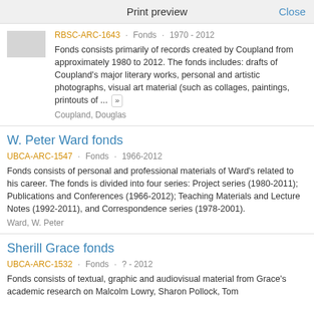Print preview   Close
RBSC-ARC-1643 · Fonds · 1970 - 2012
Fonds consists primarily of records created by Coupland from approximately 1980 to 2012. The fonds includes: drafts of Coupland's major literary works, personal and artistic photographs, visual art material (such as collages, paintings, printouts of ... »
Coupland, Douglas
W. Peter Ward fonds
UBCA-ARC-1547 · Fonds · 1966-2012
Fonds consists of personal and professional materials of Ward's related to his career. The fonds is divided into four series: Project series (1980-2011); Publications and Conferences (1966-2012); Teaching Materials and Lecture Notes (1992-2011), and Correspondence series (1978-2001).
Ward, W. Peter
Sherill Grace fonds
UBCA-ARC-1532 · Fonds · ? - 2012
Fonds consists of textual, graphic and audiovisual material from Grace's academic research on Malcolm Lowry, Sharon Pollock, Tom